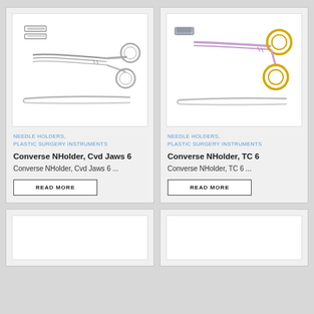[Figure (illustration): Converse needle holder with curved jaws, shown in two views: closed and open position, stainless steel with ring handles]
NEEDLE HOLDERS, PLASTIC SURGERY INSTRUMENTS
Converse NHolder, Cvd Jaws 6
Converse NHolder, Cvd Jaws 6 ...
READ MORE
[Figure (illustration): Converse needle holder TC (tungsten carbide) version, shown in two views, with gold-colored ring handles and purple/lilac colored body]
NEEDLE HOLDERS, PLASTIC SURGERY INSTRUMENTS
Converse NHolder, TC 6
Converse NHolder, TC 6 ...
READ MORE
[Figure (illustration): Partial card shown at bottom left, image area white/blank]
[Figure (illustration): Partial card shown at bottom right, image area white/blank]